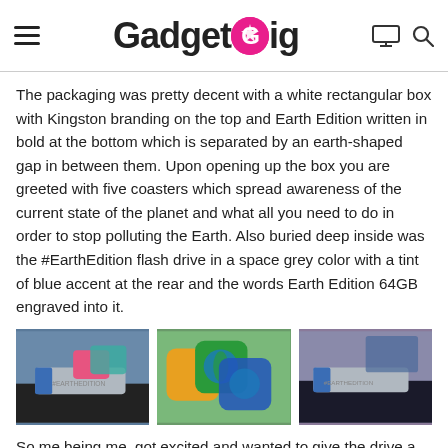GadgetGig
The packaging was pretty decent with a white rectangular box with Kingston branding on the top and Earth Edition written in bold at the bottom which is separated by an earth-shaped gap in between them. Upon opening up the box you are greeted with five coasters which spread awareness of the current state of the planet and what all you need to do in order to stop polluting the Earth. Also buried deep inside was the #EarthEdition flash drive in a space grey color with a tint of blue accent at the rear and the words Earth Edition 64GB engraved into it.
[Figure (photo): Photo of Kingston flash drive with pink and blue accents on dark surface]
[Figure (photo): Photo of colorful square coasters (orange, green, blue) with earth-themed designs]
[Figure (photo): Photo of Kingston flash drive close-up on dark surface]
So me being me, got excited and wanted to give the drive a try. Immediately after plugging in the drive, a folder opens up with the